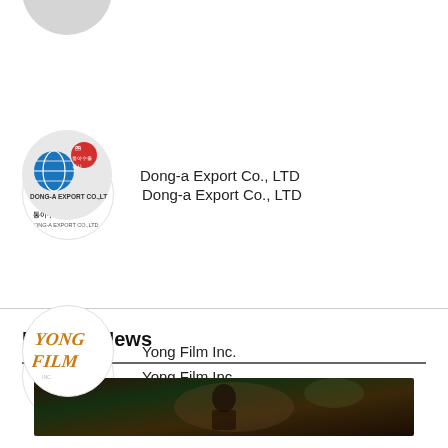[Figure (logo): Partial circular logo at top, clipped]
Dong-a Export Co., LTD
Yong Film Inc.
Related News
[Figure (photo): Dark cinematic photo, partially visible, showing a person in dim lighting]